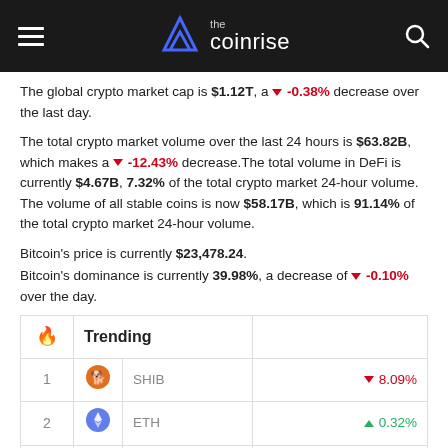the coinrise
The global crypto market cap is $1.12T, a ▼ -0.38% decrease over the last day.
The total crypto market volume over the last 24 hours is $63.82B, which makes a ▼ -12.43% decrease. The total volume in DeFi is currently $4.67B, 7.32% of the total crypto market 24-hour volume. The volume of all stable coins is now $58.17B, which is 91.14% of the total crypto market 24-hour volume.
Bitcoin's price is currently $23,478.24.
Bitcoin's dominance is currently 39.98%, a decrease of ▼ -0.10% over the day.
| 🔥 | Trending |  |  |
| --- | --- | --- | --- |
| 1 | SHIB icon | SHIB | ▼ 8.09% |
| 2 | ETH icon | ETH | ▲ 0.32% |
| 3 | DRAC icon | DRAC | ▼ 14.53% |
| 4 | DOGE icon | DOGE | ▼ 2.69% |